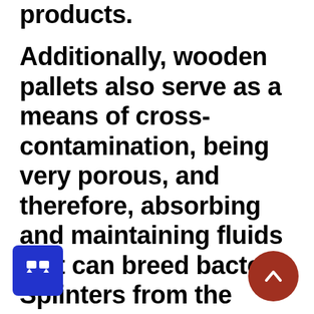products. Additionally, wooden pallets also serve as a means of cross-contamination, being very porous, and therefore, absorbing and maintaining fluids that can breed bacteria. Splinters from the wood can puncture the products, causing a great risk to food and e il